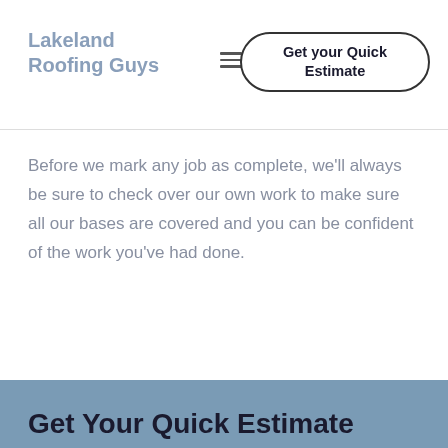Lakeland Roofing Guys
Before we mark any job as complete, we'll always be sure to check over our own work to make sure all our bases are covered and you can be confident of the work you've had done.
Get Your Quick Estimate
Feel free to give us a call or submit your project details below and we'll be happy to get back to you as soon as possible.